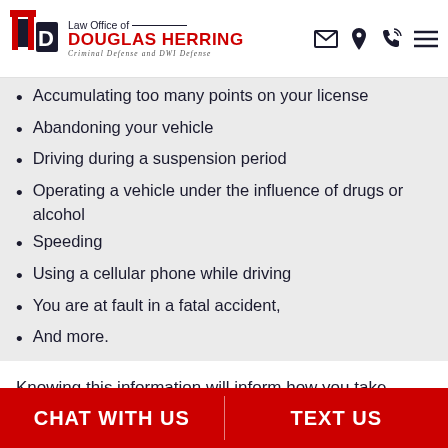Law Office of DOUGLAS HERRING — Criminal Defense and DWI Defense
Accumulating too many points on your license
Abandoning your vehicle
Driving during a suspension period
Operating a vehicle under the influence of drugs or alcohol
Speeding
Using a cellular phone while driving
You are at fault in a fatal accident,
And more.
Knowing this information will inform how you take action in the next step. The notice you receive also tells you that you can either accept the suspension or request a hearing.
CHAT WITH US | TEXT US